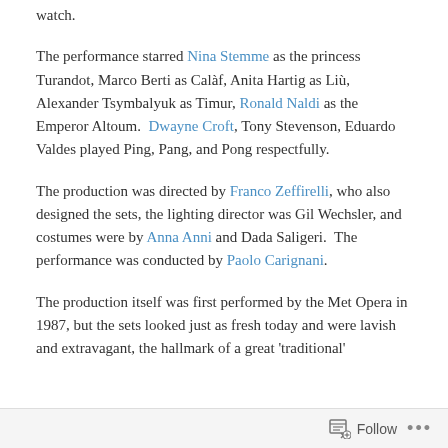watch.
The performance starred Nina Stemme as the princess Turandot, Marco Berti as Calàf, Anita Hartig as Liù, Alexander Tsymbalyuk as Timur, Ronald Naldi as the Emperor Altoum.  Dwayne Croft, Tony Stevenson, Eduardo Valdes played Ping, Pang, and Pong respectfully.
The production was directed by Franco Zeffirelli, who also designed the sets, the lighting director was Gil Wechsler, and costumes were by Anna Anni and Dada Saligeri.  The performance was conducted by Paolo Carignani.
The production itself was first performed by the Met Opera in 1987, but the sets looked just as fresh today and were lavish and extravagant, the hallmark of a great 'traditional'
Follow